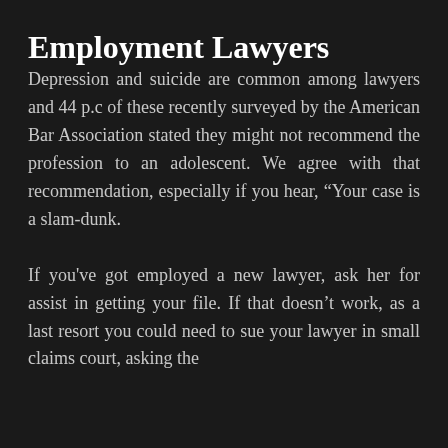Employment Lawyers
Depression and suicide are common among lawyers and 44 p.c of these recently surveyed by the American Bar Association stated they might not recommend the profession to an adolescent. We agree with that recommendation, especially if you hear, “Your case is a slam-dunk.
If you've got employed a new lawyer, ask her for assist in getting your file. If that doesn’t work, as a last resort you could need to sue your lawyer in small claims court, asking the